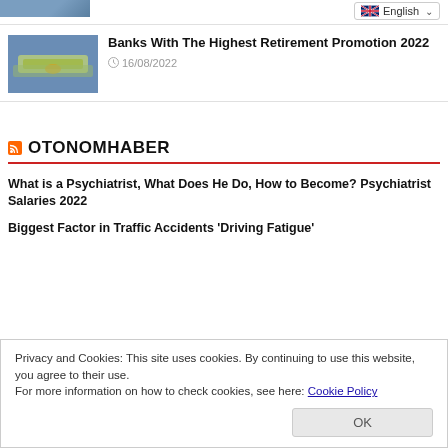[Figure (photo): Partial photo visible at top left corner]
English (language selector dropdown)
[Figure (photo): Person holding money/cash, related to retirement/banking article]
Banks With The Highest Retirement Promotion 2022
16/08/2022
OTONOMHABER
What is a Psychiatrist, What Does He Do, How to Become? Psychiatrist Salaries 2022
Biggest Factor in Traffic Accidents 'Driving Fatigue'
Privacy and Cookies: This site uses cookies. By continuing to use this website, you agree to their use.
For more information on how to check cookies, see here: Cookie Policy